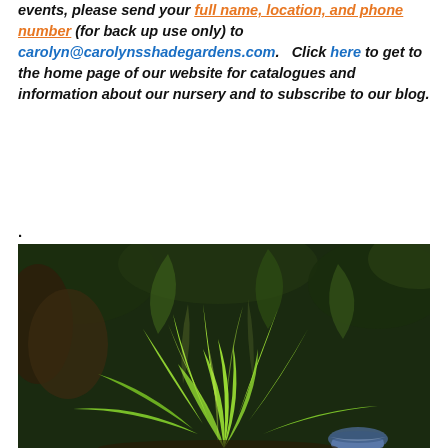events, please send your full name, location, and phone number (for back up use only) to carolyn@carolynsshadegardens.com. Click here to get to the home page of our website for catalogues and information about our nursery and to subscribe to our blog.
.
[Figure (photo): Photograph of a green leafy hosta plant growing in a garden with dark foliage in the background and a blue and white decorative pot visible at the bottom right.]